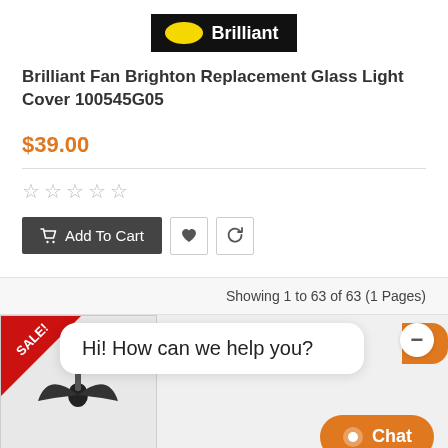[Figure (logo): Brilliant brand logo — black rectangle with yellow oval and white 'Brilliant' text]
Brilliant Fan Brighton Replacement Glass Light Cover 100545G05
$39.00
[Figure (other): Five empty star rating icons]
[Figure (other): Add To Cart button with cart icon, heart icon button, and refresh/compare icon button]
Showing 1 to 63 of 63 (1 Pages)
[Figure (other): SALE! banner corner on a product card thumbnail with a ceiling fan image below, and a live chat widget overlay reading 'Hi! How can we help you?' with a Chat button]